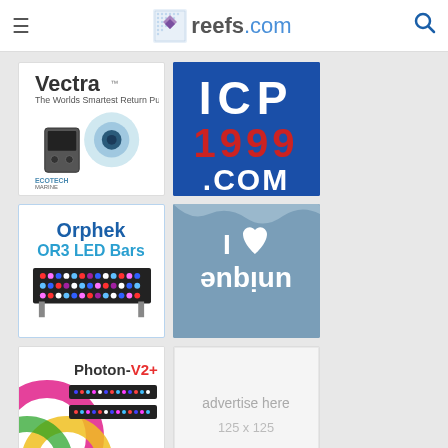reefs.com
[Figure (logo): Vectra - The Worlds Smartest Return Pump by EcoTech Marine advertisement]
[Figure (logo): ICP 1999.COM advertisement on blue background]
[Figure (logo): Orphek OR3 LED Bars product advertisement]
[Figure (logo): I love unique - blue background with heart and reversed text]
[Figure (logo): Photon-V2+ Reef Breeders advertisement with colorful swirl design]
[Figure (other): advertise here 125 x 125 placeholder ad box]